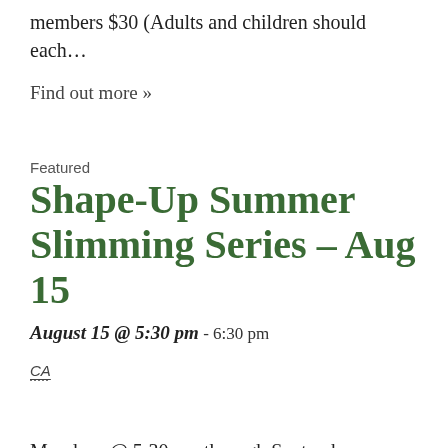members $30 (Adults and children should each…
Find out more »
Featured
Shape-Up Summer Slimming Series – Aug 15
August 15 @ 5:30 pm - 6:30 pm
CA
Mondays @ 5:30 pm through September